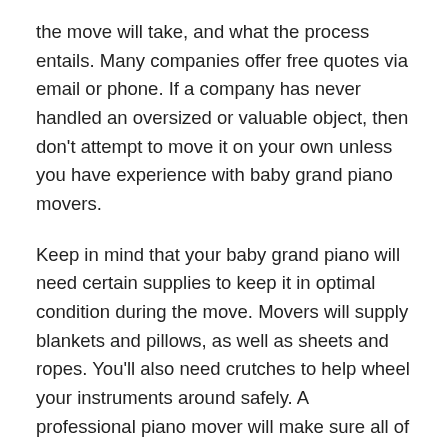the move will take, and what the process entails. Many companies offer free quotes via email or phone. If a company has never handled an oversized or valuable object, then don't attempt to move it on your own unless you have experience with baby grand piano movers.
Keep in mind that your baby grand piano will need certain supplies to keep it in optimal condition during the move. Movers will supply blankets and pillows, as well as sheets and ropes. You'll also need crutches to help wheel your instruments around safely. A professional piano mover will make sure all of these necessities are prepared before the movers leave. These necessities include toys, music, pillows, and blankets for resting.
Make sure to choose a moving company that offers insurance and bonding. The last thing you want is to be